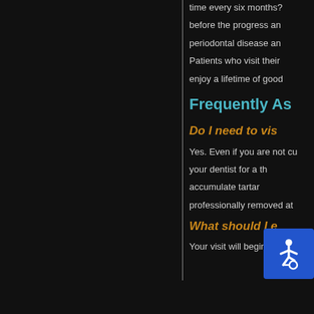time every six months? before the progress and periodontal disease and Patients who visit their enjoy a lifetime of good
Frequently As
Do I need to vis
Yes. Even if you are not cu your dentist for a th accumulate tartar professionally removed at
What should I e
Your visit will begin with a